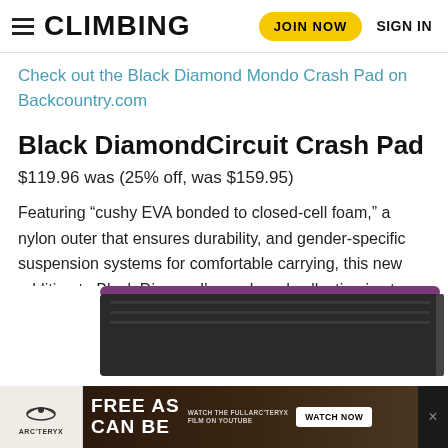CLIMBING | JOIN NOW | SIGN IN
Check out the Black Diamond Mondo Crash Pad on Backcountry.com
Black DiamondCircuit Crash Pad
$119.96 was (25% off, was $159.95)
Featuring “cushy EVA bonded to closed-cell foam,” a nylon outer that ensures durability, and gender-specific suspension systems for comfortable carrying, this new addition to Black Diamond’s crash pad collection is at once budget friendly and highly functional.
[Figure (photo): Black Diamond Circuit Crash Pad product image showing a padded crash pad with purple and black colors]
[Figure (infographic): Arc'teryx advertisement banner: FREE AS CAN BE - Watch the Fullarc'teryx film on YouTube - WATCH NOW button with close X]